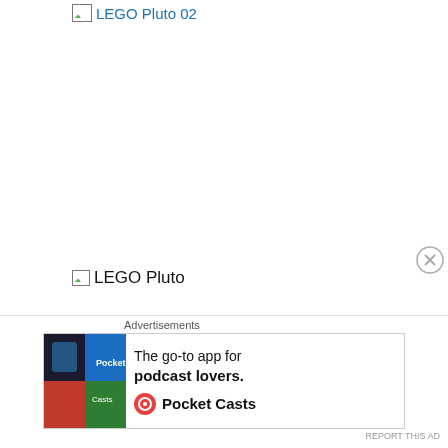[Figure (other): Broken image placeholder link reading 'LEGO Pluto 02' in blue hyperlink style with small broken image icon]
[Figure (other): Broken image placeholder reading 'LEGO Pluto' with small broken image icon]
Using LEGO graph paper for his initial draft and sketches, Meno's brick-built recreation of this antique toy is absolutely brilliant. From Pluto's collar and even to the LEGO label printed on his
[Figure (other): Advertisement banner: 'The go-to app for podcast lovers.' featuring Pocket Casts branding]